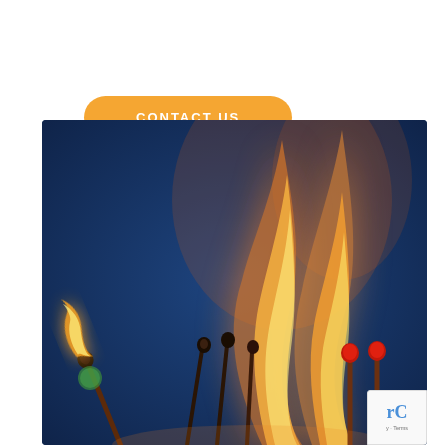CONTACT US
[Figure (photo): Close-up photograph of multiple matches on a dark blue background. One match on the left side is burning with a small orange-yellow flame. Several other matches in the center and right are also ablaze with tall orange flames. The match heads range from burnt/charred black to unlit red-tipped, arranged at various angles.]